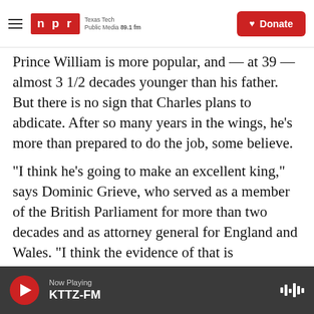NPR — Texas Tech Public Media 89.1 fm | Donate
Prince William is more popular, and — at 39 — almost 3 1/2 decades younger than his father. But there is no sign that Charles plans to abdicate. After so many years in the wings, he's more than prepared to do the job, some believe.
"I think he's going to make an excellent king," says Dominic Grieve, who served as a member of the British Parliament for more than two decades and as attorney general for England and Wales. "I think the evidence of that is overwhelming. He's a man who is assiduous in trying to promote the public interest [and] has a wide range of charities. He's
Now Playing KTTZ-FM